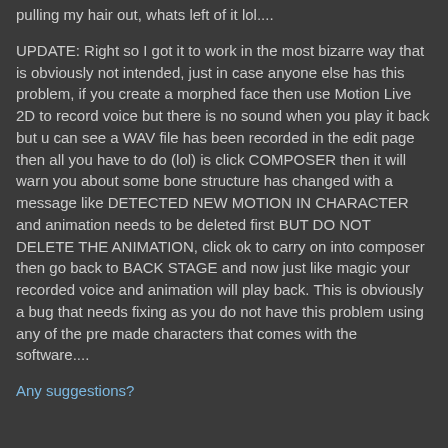pulling my hair out, whats left of it lol....
UPDATE: Right so I got it to work in the most bizarre way that is obviously not intended, just in case anyone else has this problem, if you create a morphed face then use Motion Live 2D to record voice but there is no sound when you play it back but u can see a WAV file has been recorded in the edit page then all you have to do (lol) is click COMPOSER then it will warn you about some bone structure has changed with a message like DETECTED NEW MOTION IN CHARACTER and animation needs to be deleted first BUT DO NOT DELETE THE ANIMATION, click ok to carry on into composer then go back to BACK STAGE and now just like magic your recorded voice and animation will play back. This is obviously a bug that needs fixing as you do not have this problem using any of the pre made characters that comes with the software....
Any suggestions?